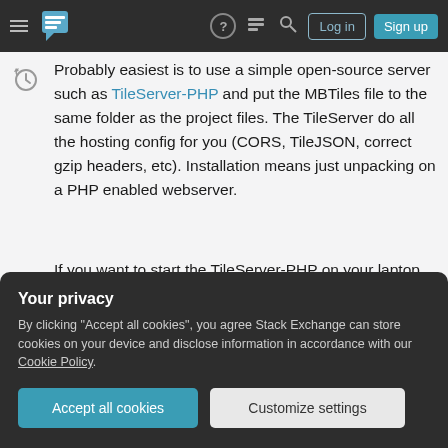Stack Exchange navigation bar with Log in and Sign up buttons
Probably easiest is to use a simple open-source server such as TileServer-PHP and put the MBTiles file to the same folder as the project files. The TileServer do all the hosting config for you (CORS, TileJSON, correct gzip headers, etc). Installation means just unpacking on a PHP enabled webserver.
If you want to start the TileServer-PHP on your laptop you can with Docker. The ready to use container is on DockerHub. Under Mac OS X and Windows it runs in a couple of minutes with the Kitematic graphical user interface:
Your privacy
By clicking "Accept all cookies", you agree Stack Exchange can store cookies on your device and disclose information in accordance with our Cookie Policy.
Accept all cookies  Customize settings